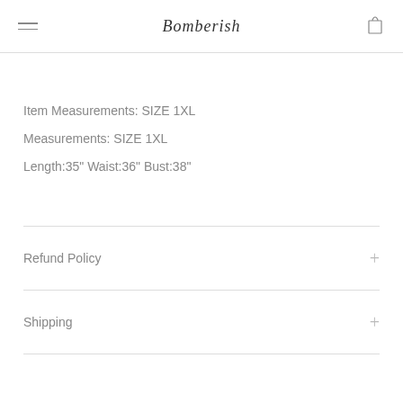Bomberish
Item Measurements: SIZE 1XL
Measurements: SIZE 1XL
Length:35" Waist:36" Bust:38"
Refund Policy
Shipping